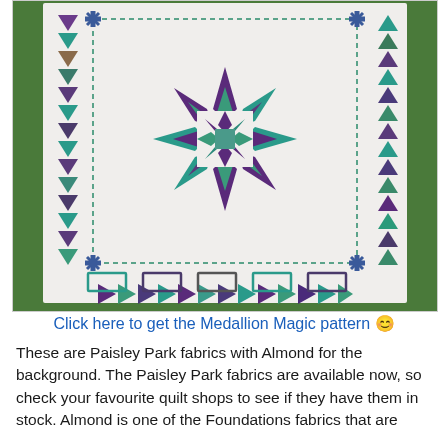[Figure (photo): A quilt with Medallion Magic pattern laid on grass. The quilt is white/cream background with purple and teal geometric shapes: a central medallion star design, triangles along the borders, flying geese blocks, and rectangular patches at the bottom.]
Click here to get the Medallion Magic pattern 😊
These are Paisley Park fabrics with Almond for the background. The Paisley Park fabrics are available now, so check your favourite quilt shops to see if they have them in stock. Almond is one of the Foundations fabrics that are